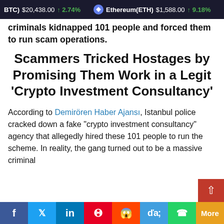(BTC) $20,438.00 ↑2.74%  Ethereum(ETH) $1,588.00 ↑9.18%
criminals kidnapped 101 people and forced them to run scam operations.
Scammers Tricked Hostages by Promising Them Work in a Legit 'Crypto Investment Consultancy'
According to Demirören Haber Ajansı, Istanbul police cracked down a fake "crypto investment consultancy" agency that allegedly hired these 101 people to run the scheme. In reality, the gang turned out to be a massive criminal
f  Twitter  in  Pinterest  Reddit  Mix  WhatsApp  More